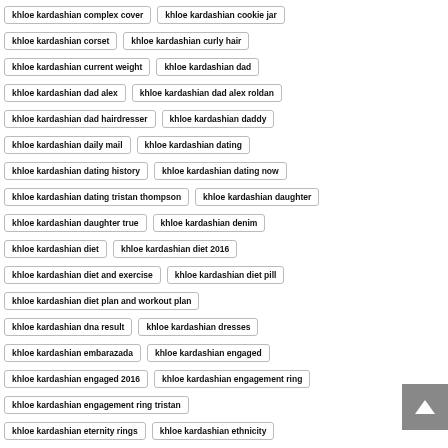khloe kardashian complex cover
khloe kardashian cookie jar
khloe kardashian corset
khloe kardashian curly hair
khloe kardashian current weight
khloe kardashian dad
khloe kardashian dad alex
khloe kardashian dad alex roldan
khloe kardashian dad hairdresser
khloe kardashian daddy
khloe kardashian daily mail
khloe kardashian dating
khloe kardashian dating history
khloe kardashian dating now
khloe kardashian dating tristan thompson
khloe kardashian daughter
khloe kardashian daughter true
khloe kardashian denim
khloe kardashian diet
khloe kardashian diet 2016
khloe kardashian diet and exercise
khloe kardashian diet pill
khloe kardashian diet plan and workout plan
khloe kardashian dna result
khloe kardashian dresses
khloe kardashian embarazada
khloe kardashian engaged
khloe kardashian engaged 2016
khloe kardashian engagement ring
khloe kardashian engagement ring tristan
khloe kardashian eternity rings
khloe kardashian ethnicity